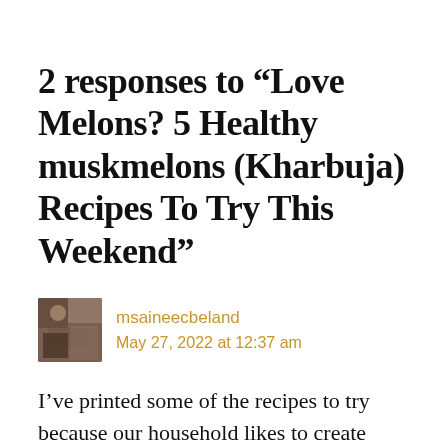2 responses to “Love Melons? 5 Healthy muskmelons (Kharbuja) Recipes To Try This Weekend”
msaineecbeland
May 27, 2022 at 12:37 am
I’ve printed some of the recipes to try because our household likes to create smoothies and what better than Cantaloupe and watermelon